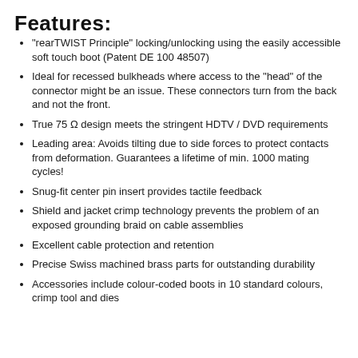Features:
“rearTWIST Principle” locking/unlocking using the easily accessible soft touch boot (Patent DE 100 48507)
Ideal for recessed bulkheads where access to the “head” of the connector might be an issue. These connectors turn from the back and not the front.
True 75 Ω design meets the stringent HDTV / DVD requirements
Leading area: Avoids tilting due to side forces to protect contacts from deformation. Guarantees a lifetime of min. 1000 mating cycles!
Snug-fit center pin insert provides tactile feedback
Shield and jacket crimp technology prevents the problem of an exposed grounding braid on cable assemblies
Excellent cable protection and retention
Precise Swiss machined brass parts for outstanding durability
Accessories include colour-coded boots in 10 standard colours, crimp tool and dies